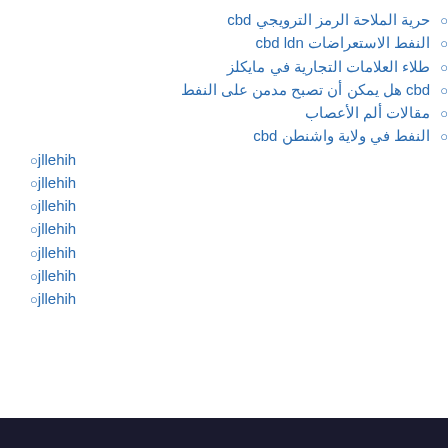حرية الملاحة الرمز الترويجي cbd
النفط الاستعراضات cbd ldn
طلاء العلامات التجارية في مايكلز
cbd هل يمكن أن تصبح مدمن على النفط
مقالات ألم الأعصاب
النفط في ولاية واشنطن cbd
jllehih
jllehih
jllehih
jllehih
jllehih
jllehih
jllehih